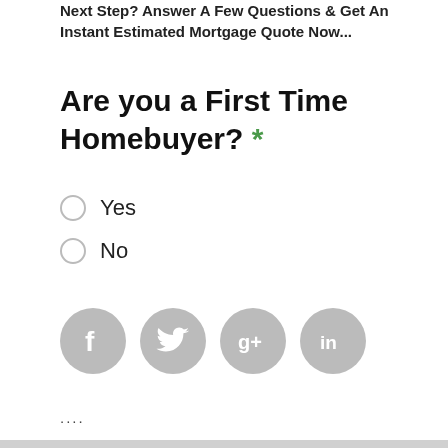Next Step? Answer A Few Questions & Get An Instant Estimated Mortgage Quote Now...
Are you a First Time Homebuyer? *
Yes
No
[Figure (other): Social media icons: Facebook, Twitter, Google+, LinkedIn — all grey circles with white icons]
....